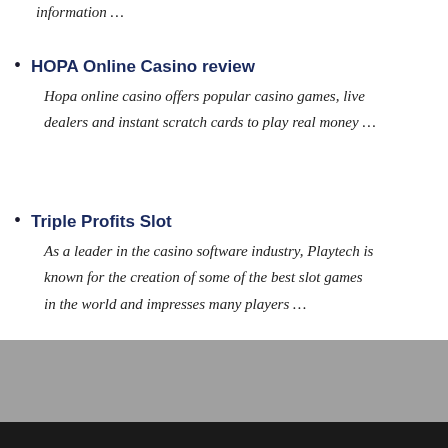information …
HOPA Online Casino review
Hopa online casino offers popular casino games, live dealers and instant scratch cards to play real money …
Triple Profits Slot
As a leader in the casino software industry, Playtech is known for the creation of some of the best slot games in the world and impresses many players …